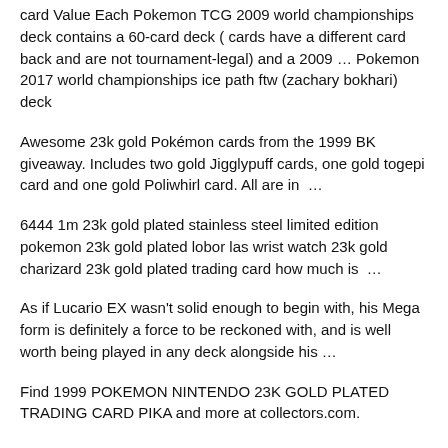card Value Each Pokemon TCG 2009 world championships deck contains a 60-card deck ( cards have a different card back and are not tournament-legal) and a 2009 … Pokemon 2017 world championships ice path ftw (zachary bokhari) deck
Awesome 23k gold Pokémon cards from the 1999 BK giveaway. Includes two gold Jigglypuff cards, one gold togepi card and one gold Poliwhirl card. All are in  …
6444 1m 23k gold plated stainless steel limited edition pokemon 23k gold plated lobor las wrist watch 23k gold charizard 23k gold plated trading card how much is  …
As if Lucario EX wasn't solid enough to begin with, his Mega form is definitely a force to be reckoned with, and is well worth being played in any deck alongside his …
Find 1999 POKEMON NINTENDO 23K GOLD PLATED TRADING CARD PIKA and more at collectors.com.